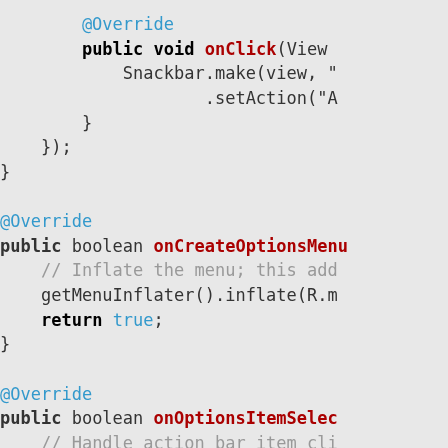[Figure (screenshot): Java source code snippet showing overridden Android methods: onClick, onCreateOptionsMenu, and onOptionsItemSelected, with syntax highlighting in a code editor (teal annotations, bold black keywords, dark red method names, gray comments, green boolean literals).]